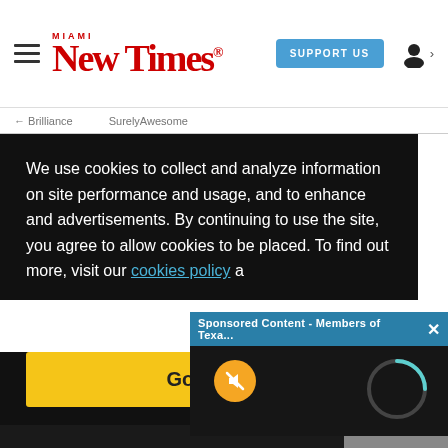Miami New Times — SUPPORT US
Brilliance   SurelyAwesome
We use cookies to collect and analyze information on site performance and usage, and to enhance and customize advertisements. By continuing to use the site, you agree to allow cookies to be placed. To find out more, visit our cookies policy a
Sponsored Content - Members of Texa... ×
Got it!